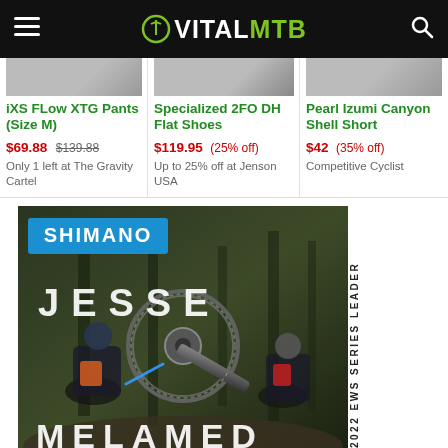VitalMTB
iXS FLow XTG Pants (Size M) $69.88 $139.88 Only 1 left at The Gravity Cartel
Specialized 2FO DH Flat Shoes $119.95 (25% off) Up to 25% off at Jenson USA
Pearl Izumi Canyon Shell Short $42 (35% off) Competitive Cyclist
[Figure (photo): Shimano advertisement featuring Jesse Melamed, 2022 EWS Series Leader, with a Shimano crankset and mountain bikers in a forest setting]